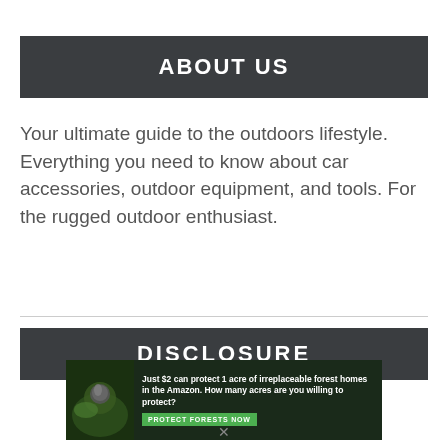ABOUT US
Your ultimate guide to the outdoors lifestyle. Everything you need to know about car accessories, outdoor equipment, and tools. For the rugged outdoor enthusiast.
DISCLOSURE
[Figure (other): Advertisement banner: Just $2 can protect 1 acre of irreplaceable forest homes in the Amazon. How many acres are you willing to protect? PROTECT FORESTS NOW]